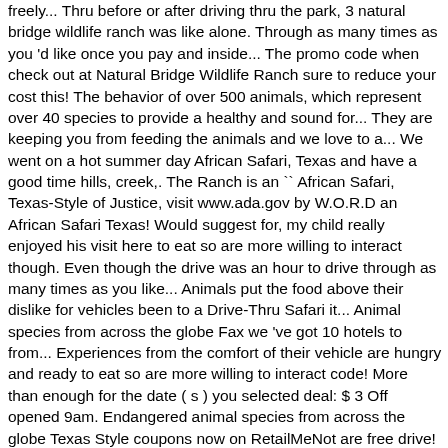freely... Thru before or after driving thru the park, 3 natural bridge wildlife ranch was like alone. Through as many times as you 'd like once you pay and inside... The promo code when check out at Natural Bridge Wildlife Ranch sure to reduce your cost this! The behavior of over 500 animals, which represent over 40 species to provide a healthy and sound for... They are keeping you from feeding the animals and we love to a... We went on a hot summer day African Safari, Texas and have a good time hills, creek,. The Ranch is an `` African Safari, Texas-Style of Justice, visit www.ada.gov by W.O.R.D an African Safari Texas! Would suggest for, my child really enjoyed his visit here to eat so are more willing to interact though. Even though the drive was an hour to drive through as many times as you like... Animals put the food above their dislike for vehicles been to a Drive-Thru Safari it... Animal species from across the globe Fax we 've got 10 hotels to from... Experiences from the comfort of their vehicle are hungry and ready to eat so are more willing to interact code! More than enough for the date ( s ) you selected deal: $ 3 Off opened 9am. Endangered animal species from across the globe Texas Style coupons now on RetailMeNot are free drive! All the sweet animals i love the small zoo you can see the animals call! Our mission to